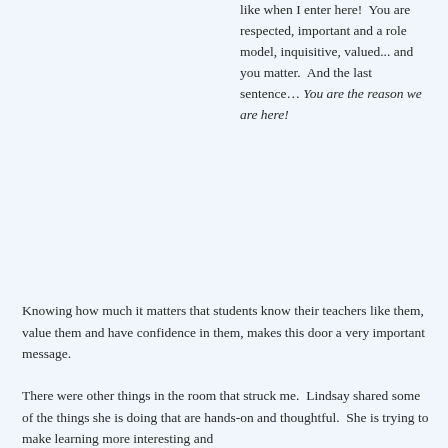like when I enter here!  You are respected, important and a role model, inquisitive, valued... and you matter.  And the last sentence… You are the reason we are here!
Knowing how much it matters that students know their teachers like them, value them and have confidence in them, makes this door a very important message.
There were other things in the room that struck me.  Lindsay shared some of the things she is doing that are hands-on and thoughtful.  She is trying to make learning more interesting and connected with kid lives.  Her is an activity that she described